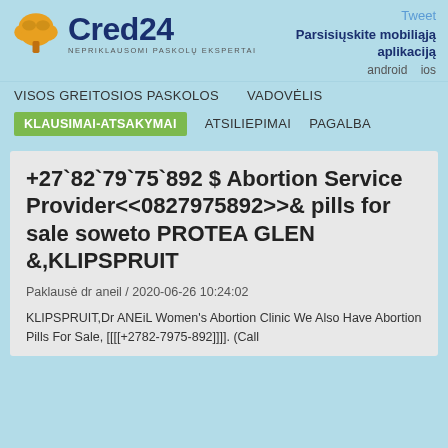[Figure (logo): Cred24 logo with orange tree icon and text 'Cred24' in dark blue, tagline 'NEPRIKLAUSOMI PASKOLŲ EKSPERTAI']
Tweet
Parsisiųskite mobiliąją aplikaciją
android   ios
VISOS GREITOSIOS PASKOLOS   VADOVĖLIS
KLAUSIMAI-ATSAKYMAI   ATSILIEPIMAI   PAGALBA
+27`82`79`75`892 $ Abortion Service Provider<<0827975892>>& pills for sale soweto PROTEA GLEN &,KLIPSPRUIT
Paklausė dr aneil / 2020-06-26 10:24:02
KLIPSPRUIT,Dr ANEiL Women's Abortion Clinic We Also Have Abortion Pills For Sale, [[[[+2782-7975-892]]]]. (Call